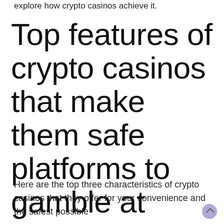explore how crypto casinos achieve it.
Top features of crypto casinos that make them safe platforms to gamble at
Here are the top three characteristics of crypto casinos that they offer for your convenience and the safest possible